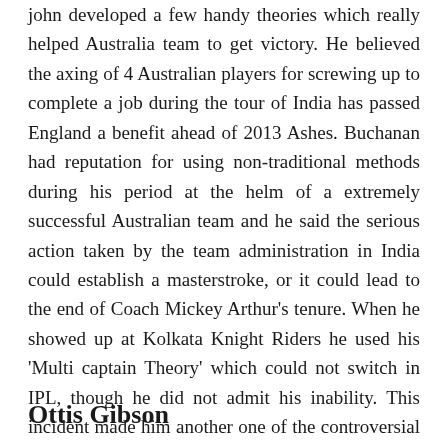john developed a few handy theories which really helped Australia team to get victory. He believed the axing of 4 Australian players for screwing up to complete a job during the tour of India has passed England a benefit ahead of 2013 Ashes. Buchanan had reputation for using non-traditional methods during his period at the helm of a extremely successful Australian team and he said the serious action taken by the team administration in India could establish a masterstroke, or it could lead to the end of Coach Mickey Arthur's tenure. When he showed up at Kolkata Knight Riders he used his 'Multi captain Theory' which could not switch in IPL, though he did not admit his inability. This incident made him another one of the controversial coaches.
Ottis Gibson